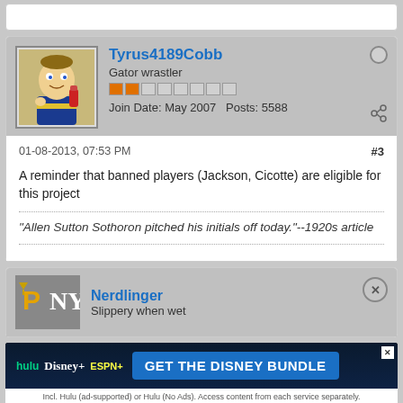Tyrus4189Cobb
Gator wrastler
Join Date: May 2007   Posts: 5588
01-08-2013, 07:53 PM  #3
A reminder that banned players (Jackson, Cicotte) are eligible for this project
"Allen Sutton Sothoron pitched his initials off today."--1920s article
Nerdlinger
Slippery when wet
[Figure (screenshot): Hulu Disney+ ESPN+ GET THE DISNEY BUNDLE advertisement banner]